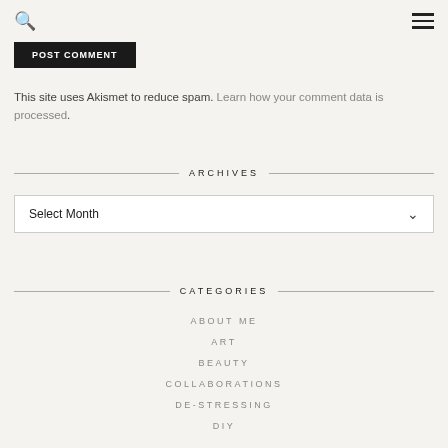Search | Menu
[Figure (screenshot): POST COMMENT button (dark/black background, white text)]
This site uses Akismet to reduce spam. Learn how your comment data is processed.
ARCHIVES
Select Month
CATEGORIES
ABOUT ME
ART
BEAUTY
COLLABORATIONS
DE-STRESSING
DIY